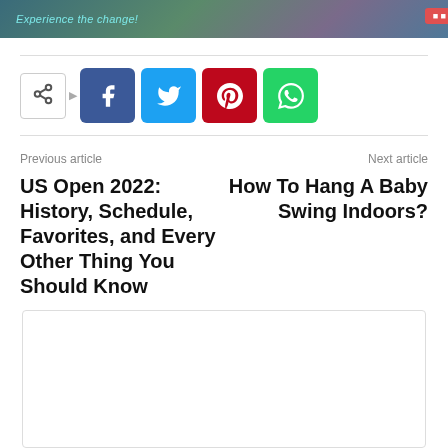[Figure (illustration): Banner with text 'Experience the change!' in teal italic font on a colorful gradient background with a red button on the right]
[Figure (infographic): Social sharing buttons row: share icon box, arrow, then Facebook (blue), Twitter (cyan), Pinterest (red), WhatsApp (green) icon buttons]
Previous article
US Open 2022: History, Schedule, Favorites, and Every Other Thing You Should Know
Next article
How To Hang A Baby Swing Indoors?
[Figure (other): Empty comment/content box with border]